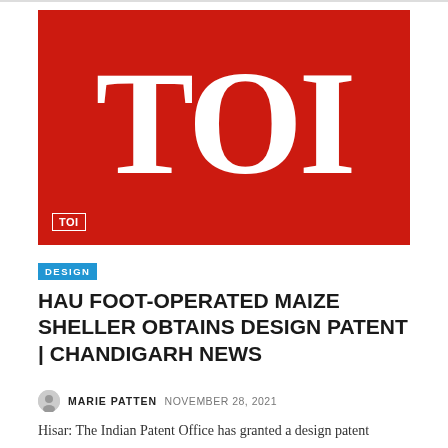[Figure (logo): Times of India (TOI) logo — white serif letters 'TOI' on solid red background with small TOI badge in bottom left corner]
DESIGN
HAU FOOT-OPERATED MAIZE SHELLER OBTAINS DESIGN PATENT | CHANDIGARH NEWS
MARIE PATTEN  NOVEMBER 28, 2021
Hisar: The Indian Patent Office has granted a design patent